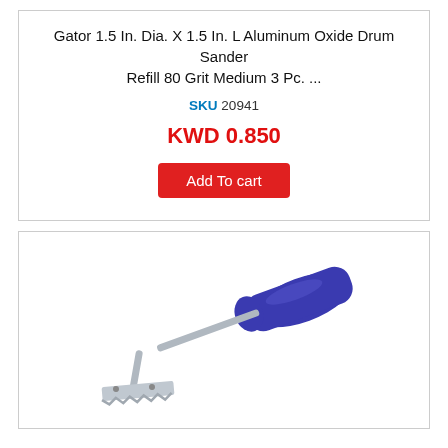Gator 1.5 In. Dia. X 1.5 In. L Aluminum Oxide Drum Sander Refill 80 Grit Medium 3 Pc. ...
SKU 20941
KWD 0.850
Add To cart
[Figure (photo): A grout saw / scraper tool with a blue plastic handle and a metal angled blade at the bottom, photographed on a white background.]